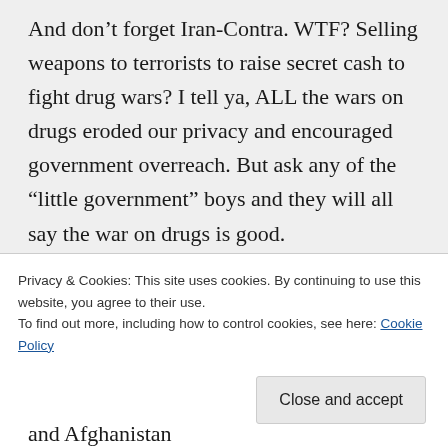And don’t forget Iran-Contra. WTF? Selling weapons to terrorists to raise secret cash to fight drug wars? I tell ya, ALL the wars on drugs eroded our privacy and encouraged government overreach. But ask any of the “little government” boys and they will all say the war on drugs is good.
Uh huh. Because any war is good.
Privacy & Cookies: This site uses cookies. By continuing to use this website, you agree to their use.
To find out more, including how to control cookies, see here: Cookie Policy
Close and accept
and Afghanistan